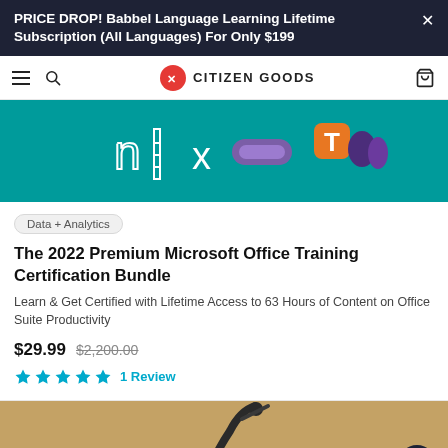PRICE DROP! Babbel Language Learning Lifetime Subscription (All Languages) For Only $199
[Figure (screenshot): Citizen Goods website navigation bar with hamburger menu, search icon, Citizen Goods logo, and cart icon]
[Figure (illustration): Teal/green background product banner showing Microsoft Office app icons including Excel-like grid, a purple pencil/brush tool, and Microsoft Teams logo (T icon in orange) with purple shapes]
Data + Analytics
The 2022 Premium Microsoft Office Training Certification Bundle
Learn & Get Certified with Lifetime Access to 63 Hours of Content on Office Suite Productivity
$29.99  $2,200.00
1 Review
[Figure (photo): Partial view of a desk lamp with gooseneck arm against a warm brown/tan background]